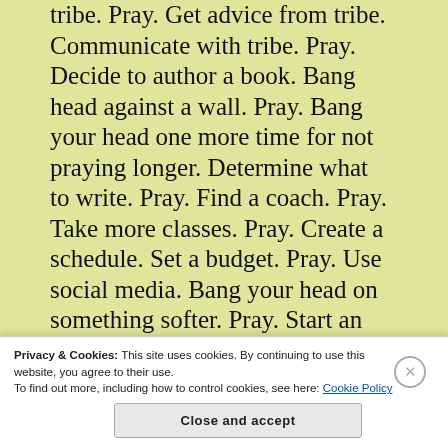tribe. Pray. Get advice from tribe. Communicate with tribe. Pray. Decide to author a book. Bang head against a wall. Pray. Bang your head one more time for not praying longer. Determine what to write. Pray. Find a coach. Pray. Take more classes. Pray. Create a schedule. Set a budget. Pray. Use social media. Bang your head on something softer. Pray. Start an author's Instagram account. Pray. Take marketing classes.
Privacy & Cookies: This site uses cookies. By continuing to use this website, you agree to their use. To find out more, including how to control cookies, see here: Cookie Policy